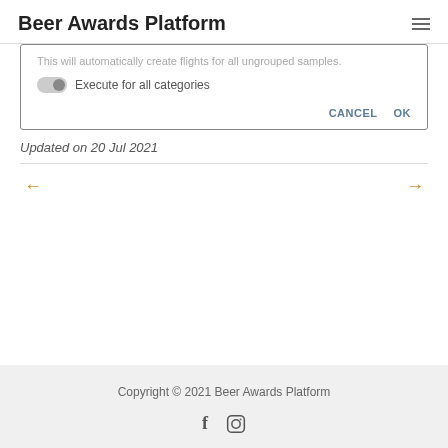Beer Awards Platform
[Figure (screenshot): A dialog box showing text 'This will automatically create flights for all ungrouped samples.' with a toggle switch labeled 'Execute for all categories' and CANCEL and OK buttons.]
Updated on 20 Jul 2021
[Figure (infographic): Navigation arrows: left arrow and right arrow in gold/amber color]
Copyright © 2021 Beer Awards Platform